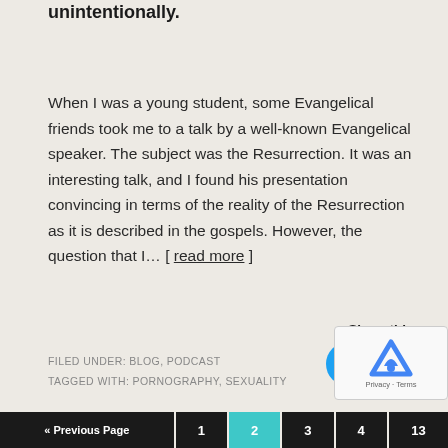unintentionally.
When I was a young student, some Evangelical friends took me to a talk by a well-known Evangelical speaker. The subject was the Resurrection. It was an interesting talk, and I found his presentation convincing in terms of the reality of the Resurrection as it is described in the gospels. However, the question that I… [ read more ]
Share this:
FILED UNDER: BLOG, PODCAST
TAGGED WITH: PORNOGRAPHY, SEXUALITY
[Figure (other): reCAPTCHA widget showing Google logo with Privacy and Terms text]
« Previous Page  1  2  3  4  13